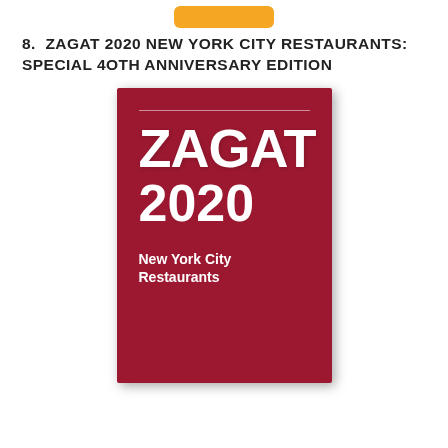[Figure (other): Orange button/badge at top center of page]
8.  ZAGAT 2020 NEW YORK CITY RESTAURANTS: SPECIAL 40TH ANNIVERSARY EDITION
[Figure (photo): Photo of the Zagat 2020 New York City Restaurants book cover. The cover is dark red with white text reading ZAGAT 2020 New York City Restaurants.]